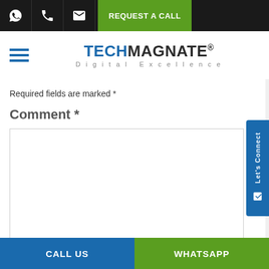REQUEST A CALL
[Figure (logo): TechMagnate logo with tagline Digital Excellence]
Required fields are marked *
Comment *
Name *
CALL US
WHATSAPP